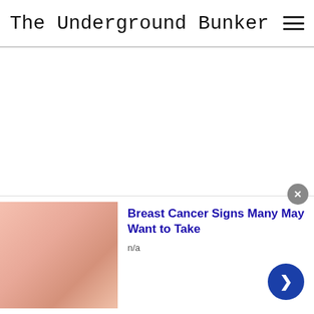The Underground Bunker
[Figure (screenshot): White blank area representing main content area of the webpage]
infolinks
ON THE UNDERGROUND BUNKER
[Figure (photo): Advertisement image showing a person's torso/chest area, skin-toned, related to breast cancer advertisement]
Breast Cancer Signs Many May Want to Take
n/a